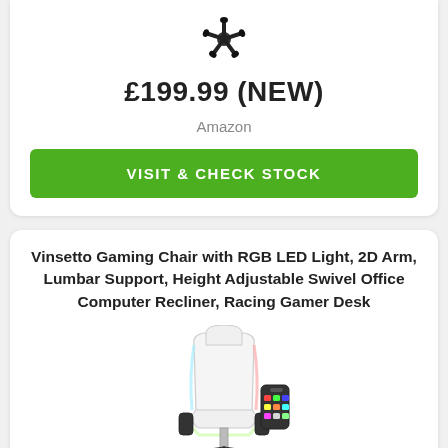[Figure (photo): Top-down view of a black office chair base with wheels on white background]
£199.99 (NEW)
Amazon
VISIT & CHECK STOCK
Vinsetto Gaming Chair with RGB LED Light, 2D Arm, Lumbar Support, Height Adjustable Swivel Office Computer Recliner, Racing Gamer Desk
[Figure (photo): White gaming chair with RGB LED lighting and a remote control, front view]